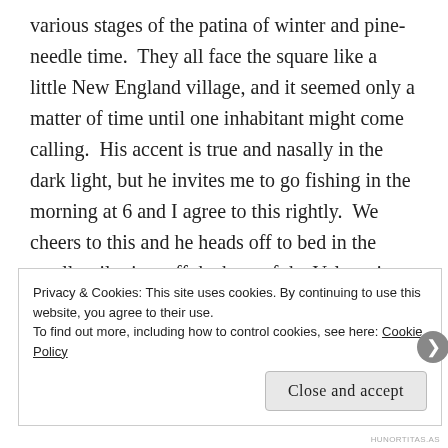various stages of the patina of winter and pine-needle time.  They all face the square like a little New England village, and it seemed only a matter of time until one inhabitant might come calling.  His accent is true and nasally in the dark light, but he invites me to go fishing in the morning at 6 and I agree to this rightly.  We cheers to this and he heads off to bed in the small trailer just off the bow of the Volvo-  it has a nice little porch he'd built and a thin stand of Christmas lights illuminated the white metal sides.
Privacy & Cookies: This site uses cookies. By continuing to use this website, you agree to their use.
To find out more, including how to control cookies, see here: Cookie Policy
Close and accept
HUNORTITAS.AS